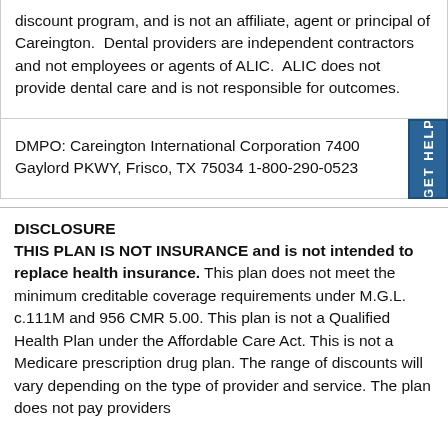discount program, and is not an affiliate, agent or principal of Careington.  Dental providers are independent contractors and not employees or agents of ALIC.  ALIC does not provide dental care and is not responsible for outcomes.
DMPO: Careington International Corporation 7400 Gaylord PKWY, Frisco, TX 75034 1-800-290-0523
DISCLOSURE
THIS PLAN IS NOT INSURANCE and is not intended to replace health insurance. This plan does not meet the minimum creditable coverage requirements under M.G.L. c.111M and 956 CMR 5.00. This plan is not a Qualified Health Plan under the Affordable Care Act. This is not a Medicare prescription drug plan. The range of discounts will vary depending on the type of provider and service. The plan does not pay providers